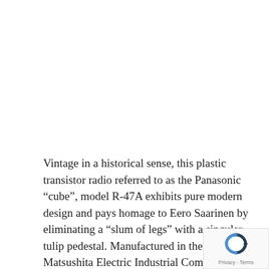Vintage in a historical sense, this plastic transistor radio referred to as the Panasonic “cube”, model R-47A exhibits pure modern design and pays homage to Eero Saarinen by eliminating a “slum of legs” with a singular tulip pedestal. Manufactured in the 60s by Matsushita Electric Industrial Company, the cube measures approximately 4" x 4", 5.5" tall; elevated on the iconic tulip base.
[Figure (logo): reCAPTCHA badge with spinning arrow logo and Privacy - Terms text]